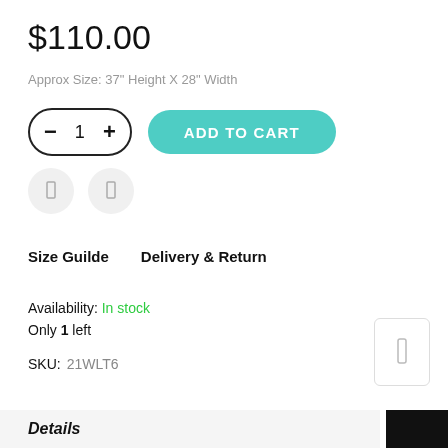$110.00
Approx Size: 37" Height X 28" Width
Size Guilde   Delivery & Return
Availability: In stock
Only 1 left
SKU: 21WLT6
Details